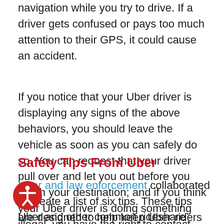navigation while you try to drive. If a driver gets confused or pays too much attention to their GPS, it could cause an accident.
If you notice that your Uber driver is displaying any signs of the above behaviors, you should leave the vehicle as soon as you can safely do so. You can request that your driver pull over and let you out before you reach your destination; and if you think your Uber driver is doing something illegal, you have the right to contact authorities.
Safety Tips From Uber
Uber and law enforcement collaborated to create a list of six tips. These tips are designed to help keep Uber riders safe when they use the app and its services.
Uber and other common rideshare services all screen their